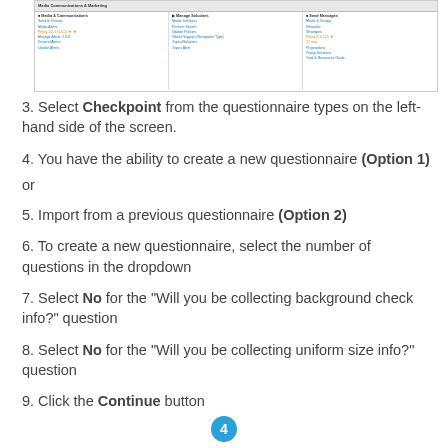[Figure (screenshot): Screenshot of a software interface showing a navigation/dashboard with columns for Media Communications & Marketing, Manage Solutions, and Send Messages, each with sub-items and links.]
3. Select Checkpoint from the questionnaire types on the left-hand side of the screen.
4. You have the ability to create a new questionnaire (Option 1)
or
5. Import from a previous questionnaire (Option 2)
6. To create a new questionnaire, select the number of questions in the dropdown
7. Select No for the "Will you be collecting background check info?" question
8. Select No for the "Will you be collecting uniform size info?" question
9. Click the Continue button
4